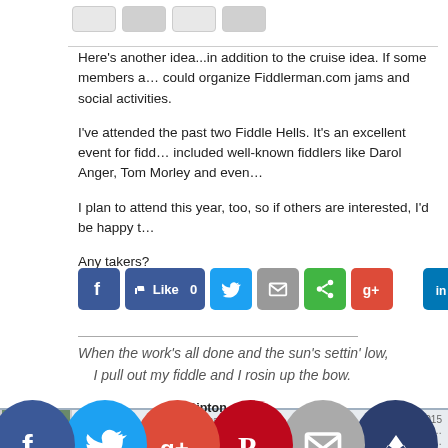Here's another idea...in addition to the cruise idea. If some members a… could organize Fiddlerman.com jams and social activities.
I've attended the past two Fiddle Hells. It's an excellent event for fidd… included well-known fiddlers like Darol Anger, Tom Morley and even…
I plan to attend this year, too, so if others are interested, I'd be happy t…
Any takers?
[Figure (screenshot): Social media share buttons: Facebook, Like 0, Twitter, Email, Share, Google+, LinkedIn, StumbleUpon]
When the work's all done and the sun's settin' low,
    I pull out my fiddle and I rosin up the bow.
Ripton — Vermont, Massachusetts or somewhere in between — July 8, 2015 — Member Since: No… — Forum Po… — Member: Regula…
[Figure (screenshot): Social share circles at bottom: Facebook, Twitter, Google+, Pinterest, Email, Crown/King]